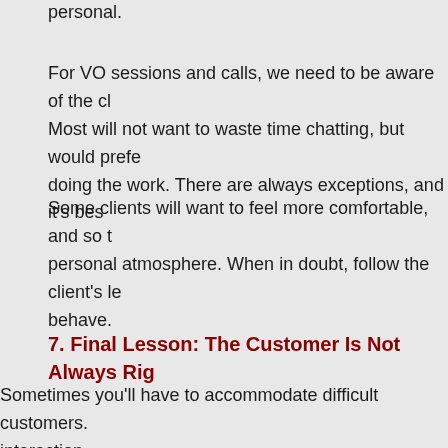personal.
For VO sessions and calls, we need to be aware of the cl… Most will not want to waste time chatting, but would prefe… doing the work. There are always exceptions, and it's bes…
Some clients will want to feel more comfortable, and so th… personal atmosphere. When in doubt, follow the client's le… behave.
7. Final Lesson: The Customer Is Not Always Rig…
Sometimes you'll have to accommodate difficult customers. … interaction.
But that doesn't mean there's no limit to what crapola you ha… waiter knows when a customer is disturbing others, being un… being an a-hole.